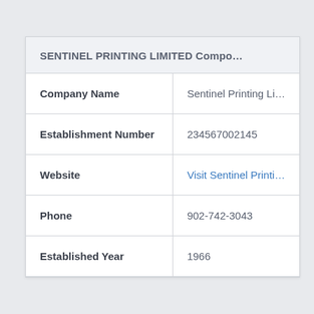| SENTINEL PRINTING LIMITED Compo... |
| --- |
| Company Name | Sentinel Printing Li... |
| Establishment Number | 234567002145 |
| Website | Visit Sentinel Printi... |
| Phone | 902-742-3043 |
| Established Year | 1966 |